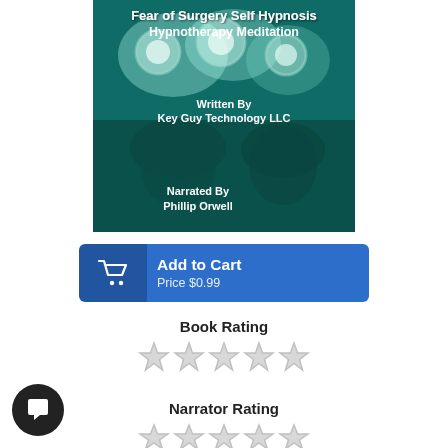[Figure (illustration): Book cover for 'Fear of Surgery Self Hypnosis Hypnotherapy Meditation' showing surgeons under green-tinted operating room lights. Text: 'Written By Key Guy Technology LLC', 'Narrated By Phillip Orwell'.]
Add to Cart
Price $0.99
Book Rating
[Figure (illustration): 5 empty/unfilled star icons representing book rating (no stars filled)]
Narrator Rating
[Figure (illustration): 5 empty/unfilled star icons representing narrator rating (no stars filled)]